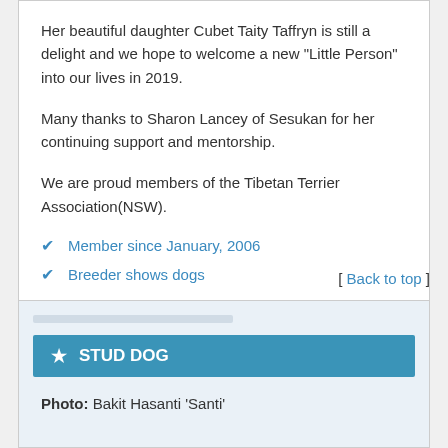Her beautiful daughter Cubet Taity Taffryn is still a delight and we hope to welcome a new "Little Person" into our lives in 2019.
Many thanks to Sharon Lancey of Sesukan for her continuing support and mentorship.
We are proud members of the Tibetan Terrier Association(NSW).
Member since January, 2006
Breeder shows dogs
Next Litter Planned: Unknown
[ Back to top ]
STUD DOG
Photo: Bakit Hasanti 'Santi'